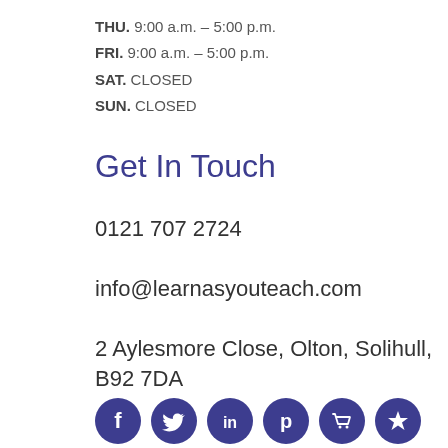THU. 9:00 a.m. – 5:00 p.m.
FRI. 9:00 a.m. – 5:00 p.m.
SAT. CLOSED
SUN. CLOSED
Get In Touch
0121 707 2724
info@learnasyouteach.com
2 Aylesmore Close, Olton, Solihull, B92 7DA
[Figure (infographic): Six circular social media icons in dark navy/purple: Facebook (f), Twitter (bird), LinkedIn (in), Pinterest (p), Shopping cart, Star/favorite]